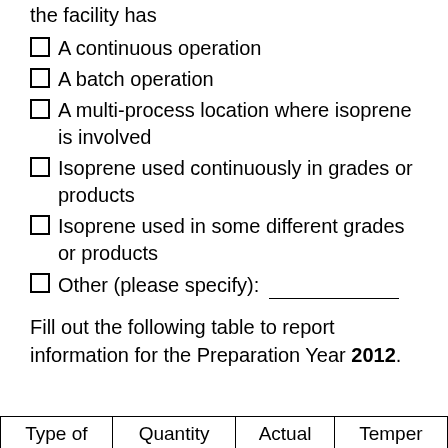the facility has
A continuous operation
A batch operation
A multi-process location where isoprene is involved
Isoprene used continuously in grades or products
Isoprene used in some different grades or products
Other (please specify): ___________
Fill out the following table to report information for the Preparation Year 2012.
| Type of | Quantity | Actual | Temper |
| --- | --- | --- | --- |